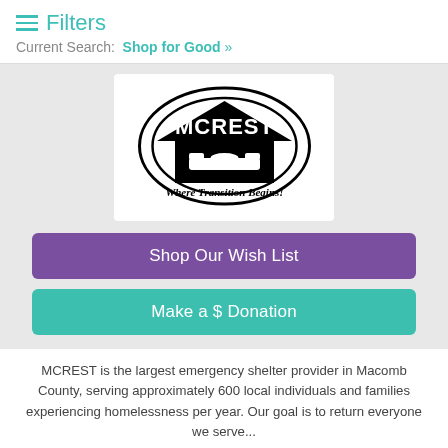≡ Filters
Current Search: Shop for Good »
[Figure (logo): MCREST logo — black oval with house/shelter silhouette and text 'MCREST Where Transition Begins!']
Shop Our Wish List
Make a $ Donation
MCREST is the largest emergency shelter provider in Macomb County, serving approximately 600 local individuals and families experiencing homelessness per year. Our goal is to return everyone we serve...
See everything we need »
[Figure (photo): Black folding table with chairs]
[Figure (photo): Product in dark packaging]